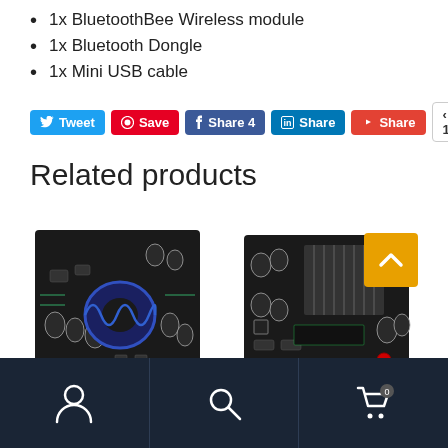1x BluetoothBee Wireless module
1x Bluetooth Dongle
1x Mini USB cable
[Figure (infographic): Social sharing buttons: Tweet (Twitter/blue), Save (Pinterest/red), Share 4 (Facebook/blue), Share (LinkedIn/blue), Share (red/YouTube-style), count badge showing 13]
Related products
[Figure (photo): Black electronic circuit board with blue toroidal inductor and capacitors - amplifier board]
[Figure (photo): Black electronic circuit board with heatsink and capacitors - amplifier board, with orange scroll-to-top button overlay]
Navigation footer bar with user account icon, search icon, and shopping cart icon with badge showing 0